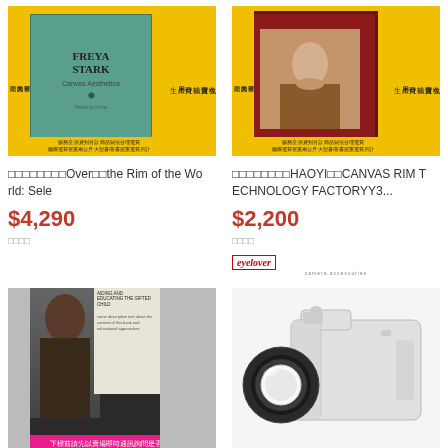[Figure (photo): Product listing image of Freya Stark book 'Over the Rim of the World' on yellow background]
[Figure (photo): Product listing image of canvas painting in ornate red frame on yellow background, HAOYI Canvas Rim Technology Factory]
□□□□□□□□Over□□the Rim of the World: Sele
□□□□□□□□HAOYI□□CANVAS RIM TECHNOLOGY FACTORYY3...
$4,290
$2,200
□□□□
□□□□
[Figure (photo): Product listing image of a book with person on cover, pink banner at bottom with Chinese text]
[Figure (photo): Camera accessory product image showing a lens adapter ring in front of a DSLR camera, with eyelover brand logo]